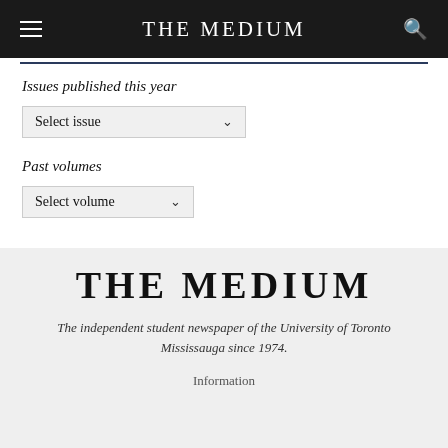THE MEDIUM
Issues published this year
[Figure (screenshot): Select issue dropdown box with chevron arrow]
Past volumes
[Figure (screenshot): Select volume dropdown box with chevron arrow]
THE MEDIUM
The independent student newspaper of the University of Toronto Mississauga since 1974.
Information